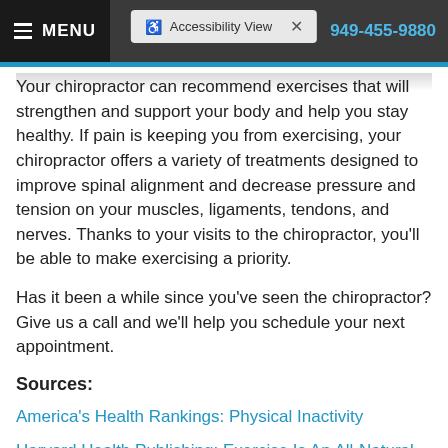MENU | Accessibility View | 949-455-9880
Your chiropractor can recommend exercises that will strengthen and support your body and help you stay healthy. If pain is keeping you from exercising, your chiropractor offers a variety of treatments designed to improve spinal alignment and decrease pressure and tension on your muscles, ligaments, tendons, and nerves. Thanks to your visits to the chiropractor, you'll be able to make exercising a priority.
Has it been a while since you've seen the chiropractor? Give us a call and we'll help you schedule your next appointment.
Sources:
America's Health Rankings: Physical Inactivity
Harvard Health Publishing: Exercise Is An All-Natural Way to Fight Depression, 2/2/21
World Health Organization: Physical Inactivity a Leading Cause of Disease and Disability, Warns Who,